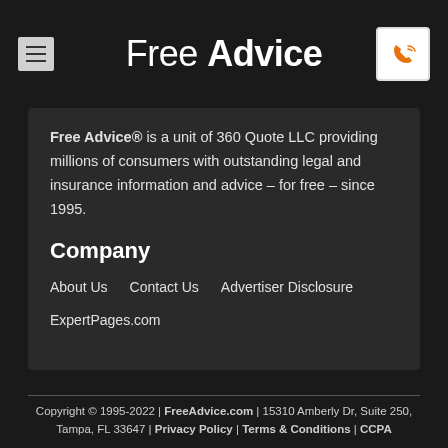Free Advice
Free Advice® is a unit of 360 Quote LLC providing millions of consumers with outstanding legal and insurance information and advice – for free – since 1995.
Company
About Us
Contact Us
Advertiser Disclosure
ExpertPages.com
Copyright © 1995-2022 | FreeAdvice.com | 15310 Amberly Dr, Suite 250, Tampa, FL 33647 | Privacy Policy | Terms & Conditions | CCPA
Disclaimer: FreeAdvice.com strives to present reliable and up-to-date legal information and advice on home, car, and life insurance. Nothing on FreeAdvice.com constitutes legal advice and all content is provided for informational